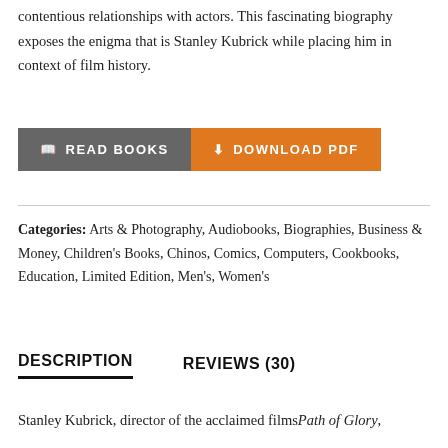contentious relationships with actors. This fascinating biography exposes the enigma that is Stanley Kubrick while placing him in context of film history.
READ BOOKS   DOWNLOAD PDF
Categories: Arts & Photography, Audiobooks, Biographies, Business & Money, Children's Books, Chinos, Comics, Computers, Cookbooks, Education, Limited Edition, Men's, Women's
DESCRIPTION
REVIEWS (30)
Stanley Kubrick, director of the acclaimed filmsPath of Glory,